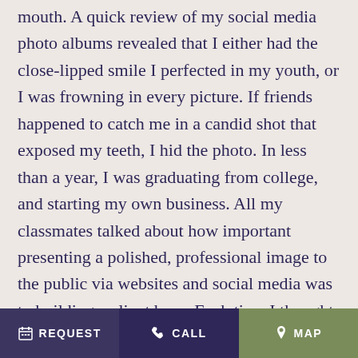mouth. A quick review of my social media photo albums revealed that I either had the close-lipped smile I perfected in my youth, or I was frowning in every picture. If friends happened to catch me in a candid shot that exposed my teeth, I hid the photo. In less than a year, I was graduating from college, and starting my own business. All my classmates talked about how important presenting a polished, professional image to the public via websites and social media was to building a client base. Each time I thought about meeting people, presenting proposals, or smiling for the camera, my stomach would sink. I’d worked diligently for four years, and my smile was the one thing keeping me from feeling confident in my abilities. That’s when I decided to visit
REQUEST  CALL  MAP